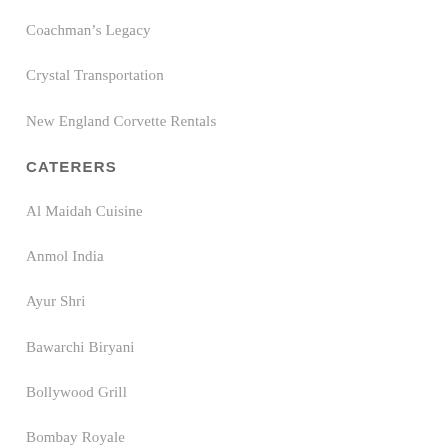Coachman's Legacy
Crystal Transportation
New England Corvette Rentals
CATERERS
Al Maidah Cuisine
Anmol India
Ayur Shri
Bawarchi Biryani
Bollywood Grill
Bombay Royale
Coriander Bistro